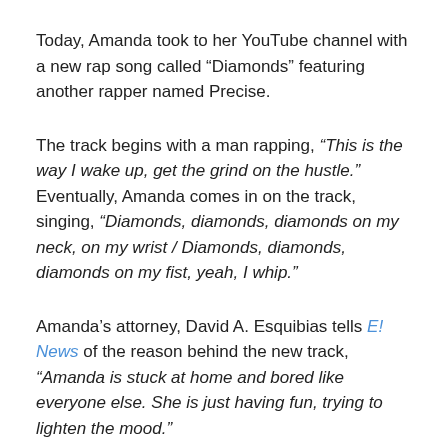Today, Amanda took to her YouTube channel with a new rap song called “Diamonds” featuring another rapper named Precise.
The track begins with a man rapping, “This is the way I wake up, get the grind on the hustle.” Eventually, Amanda comes in on the track, singing, “Diamonds, diamonds, diamonds on my neck, on my wrist / Diamonds, diamonds, diamonds on my fist, yeah, I whip.”
Amanda’s attorney, David A. Esquibias tells E! News of the reason behind the new track, “Amanda is stuck at home and bored like everyone else. She is just having fun, trying to lighten the mood.”